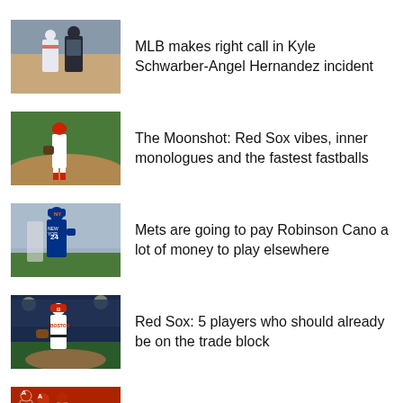[Figure (photo): Baseball player in red uniform with umpire on field]
MLB makes right call in Kyle Schwarber-Angel Hernandez incident
[Figure (photo): Baseball player in red uniform standing on dirt infield]
The Moonshot: Red Sox vibes, inner monologues and the fastest fastballs
[Figure (photo): Mets player wearing blue jersey number 24 on field]
Mets are going to pay Robinson Cano a lot of money to play elsewhere
[Figure (photo): Red Sox pitcher in white uniform on the mound at night]
Red Sox: 5 players who should already be on the trade block
[Figure (photo): Baseball players in red uniforms in crowd setting]
MLB Power Rankings: Angels, Yankees are legit